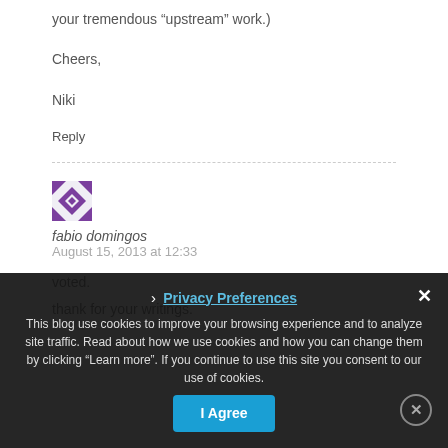your tremendous “upstream” work.)
Cheers,
Niki
Reply
[Figure (illustration): Purple geometric avatar icon for user fabio domingos]
fabio domingos
August 15, 2013 at 12:33
voted.
thank for your writings.
This blog use cookies to improve your browsing experience and to analyze site traffic. Read about how we use cookies and how you can change them by clicking “Learn more”. If you continue to use this site you consent to our use of cookies.
Privacy Preferences
I Agree